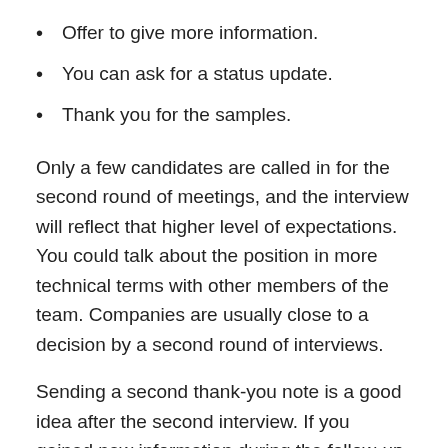Offer to give more information.
You can ask for a status update.
Thank you for the samples.
Only a few candidates are called in for the second round of meetings, and the interview will reflect that higher level of expectations. You could talk about the position in more technical terms with other members of the team. Companies are usually close to a decision by a second round of interviews.
Sending a second thank-you note is a good idea after the second interview. If you gained new information during the follow-up interview, you can add some depth to your second thank-you. Your thank-you letter should still be written as a business letter and checked for proper spelling